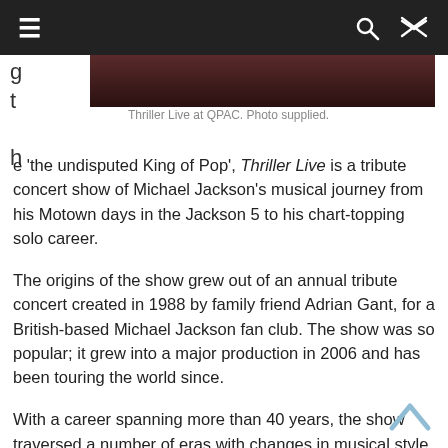≡  🔍  ⇌
Thriller Live at QPAC. Photo supplied.
e 'the undisputed King of Pop', Thriller Live is a tribute concert show of Michael Jackson's musical journey from his Motown days in the Jackson 5 to his chart-topping solo career.
The origins of the show grew out of an annual tribute concert created in 1988 by family friend Adrian Gant, for a British-based Michael Jackson fan club. The show was so popular; it grew into a major production in 2006 and has been touring the world since.
With a career spanning more than 40 years, the show traversed a number of eras with changes in musical style and costuming, helped along by a narrator. A number of outstanding singers were utilised to share